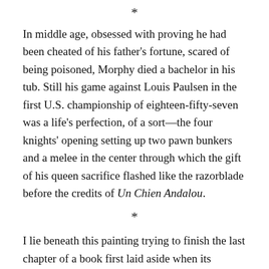*
In middle age, obsessed with proving he had been cheated of his father's fortune, scared of being poisoned, Morphy died a bachelor in his tub. Still his game against Louis Paulsen in the first U.S. championship of eighteen-fifty-seven was a life's perfection, of a sort—the four knights' opening setting up two pawn bunkers and a melee in the center through which the gift of his queen sacrifice flashed like the razorblade before the credits of Un Chien Andalou.
*
I lie beneath this painting trying to finish the last chapter of a book first laid aside when its chronicle reached the year I was born: